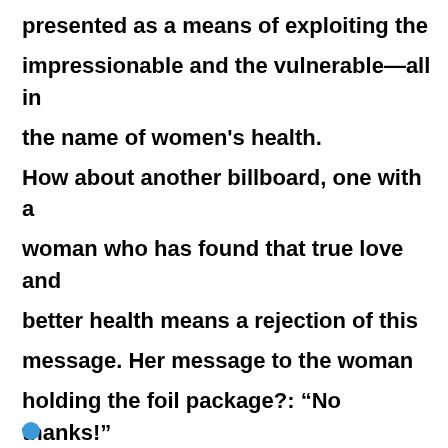presented as a means of exploiting the impressionable and the vulnerable—all in the name of women's health.

How about another billboard, one with a woman who has found that true love and better health means a rejection of this message. Her message to the woman holding the foil package?: “No thanks!”